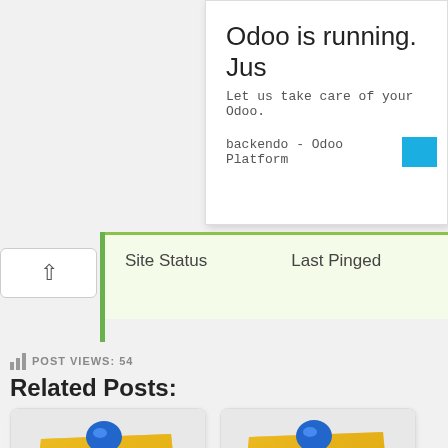Odoo is running. Jus
Let us take care of your Odoo.
backendo - Odoo Platform
| Site Status | Last Pinged |
| --- | --- |
POST VIEWS: 54
Related Posts:
[Figure (illustration): Yellow sticky note with blue thumbtack pin, labeled How To Login Mongodb]
[Figure (illustration): Yellow sticky note with blue thumbtack pin, labeled Login Page Using Mongodb]
[Figure (illustration): Yellow sticky note with blue thumbtack pin (partial, bottom of page)]
[Figure (illustration): Yellow sticky note with blue thumbtack pin (partial, bottom of page)]